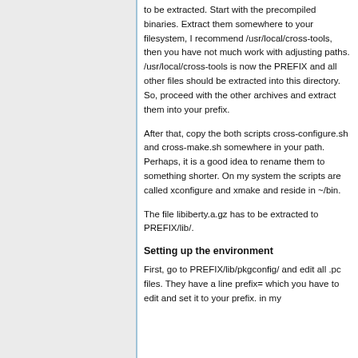to be extracted. Start with the precompiled binaries. Extract them somewhere to your filesystem, I recommend /usr/local/cross-tools, then you have not much work with adjusting paths. /usr/local/cross-tools is now the PREFIX and all other files should be extracted into this directory. So, proceed with the other archives and extract them into your prefix.
After that, copy the both scripts cross-configure.sh and cross-make.sh somewhere in your path. Perhaps, it is a good idea to rename them to something shorter. On my system the scripts are called xconfigure and xmake and reside in ~/bin.
The file libiberty.a.gz has to be extracted to PREFIX/lib/.
Setting up the environment
First, go to PREFIX/lib/pkgconfig/ and edit all .pc files. They have a line prefix= which you have to edit and set it to your prefix. in my